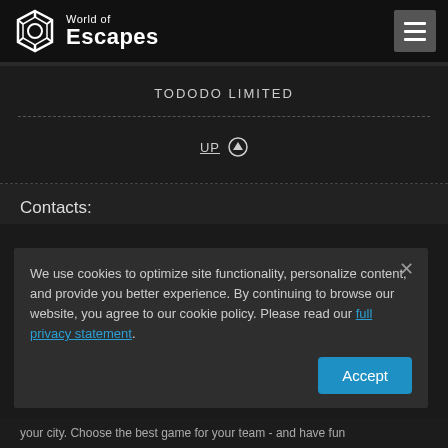World of Escapes
TODODO LIMITED
UP ↑
Contacts:
We use cookies to optimize site functionality, personalize content, and provide you better experience. By continuing to browse our website, you agree to our cookie policy. Please read our full privacy statement.
your city. Choose the best game for your team - and have fun